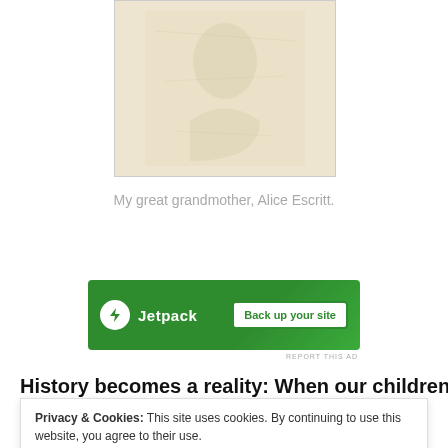[Figure (photo): Old sepia/cream toned photograph of Alice Escritt, great grandmother, showing a faded portrait image]
My great grandmother, Alice Escritt.
[Figure (other): Jetpack advertisement banner with lightning bolt logo and 'Back up your site' button]
REPORT THIS AD
History becomes a reality: When our children do history
Privacy & Cookies: This site uses cookies. By continuing to use this website, you agree to their use.
To find out more, including how to control cookies, see here: Cookie Policy
Close and accept